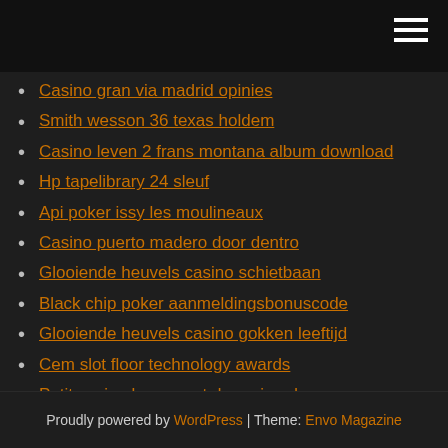Casino gran via madrid opinies
Smith wesson 36 texas holdem
Casino leven 2 frans montana album download
Hp tapelibrary 24 sleuf
Api poker issy les moulineaux
Casino puerto madero door dentro
Glooiende heuvels casino schietbaan
Black chip poker aanmeldingsbonuscode
Glooiende heuvels casino gokken leeftijd
Cem slot floor technology awards
Petit casino beaumont du perigord
Proudly powered by WordPress | Theme: Envo Magazine